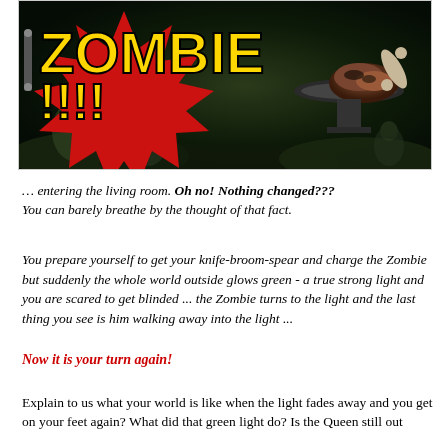[Figure (photo): Dark zombie scene with large red starburst graphic and yellow bold text reading 'ZOMBIE!!!!' overlaid. Background shows zombie figures in a dark green-tinted environment with what appears to be meat/food on a platform in the upper right.]
… entering the living room. Oh no! Nothing changed??? You can barely breathe by the thought of that fact.
You prepare yourself to get your knife-broom-spear and charge the Zombie but suddenly the whole world outside glows green - a true strong light and you are scared to get blinded ... the Zombie turns to the light and the last thing you see is him walking away into the light ...
Now it is your turn again!
Explain to us what your world is like when the light fades away and you get on your feet again? What did that green light do? Is the Queen still out